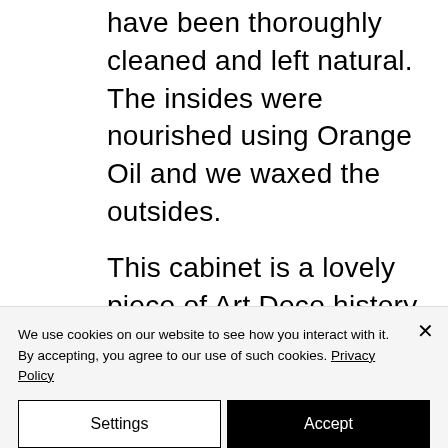have been thoroughly cleaned and left natural. The insides were nourished using Orange Oil and we waxed the outsides.
This cabinet is a lovely piece of Art Deco history and so is perfect for this kind of interior, but would
We use cookies on our website to see how you interact with it. By accepting, you agree to our use of such cookies. Privacy Policy